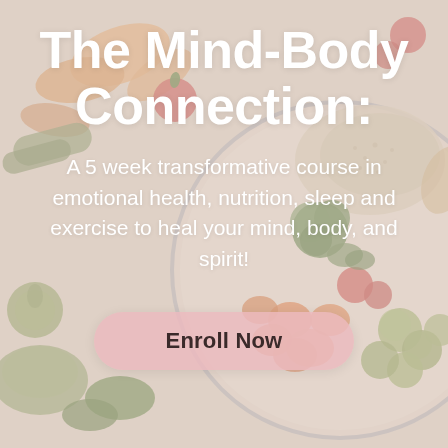[Figure (photo): Background photo of a colorful bowl of vegetables and grains (broccoli, carrots, tomatoes, Brussels sprouts, quinoa) surrounded by fresh vegetables on a light surface, with a soft pink/warm overlay.]
The Mind-Body Connection:
A 5 week transformative course in emotional health, nutrition, sleep and exercise to heal your mind, body, and spirit!
Enroll Now